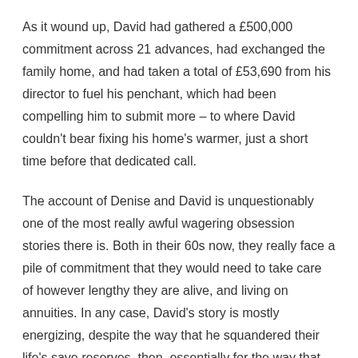As it wound up, David had gathered a £500,000 commitment across 21 advances, had exchanged the family home, and had taken a total of £53,690 from his director to fuel his penchant, which had been compelling him to submit more – to where David couldn't bear fixing his home's warmer, just a short time before that dedicated call.
The account of Denise and David is unquestionably one of the most really awful wagering obsession stories there is. Both in their 60s now, they really face a pile of commitment that they would need to take care of however lengthy they are alive, and living on annuities. In any case, David's story is mostly energizing, despite the way that he squandered their life's save reserves, then, essentially for the way that he had imagined that it is in himself to proceed.
While in prison, he sought after care gatherings and joined Gamblers Anonymous. Alongside his kid, Adam, they have set up